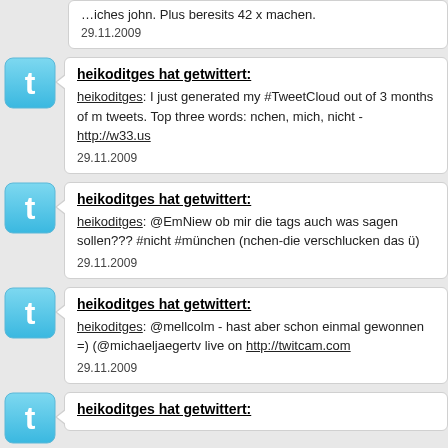heikoditges: I just generated my #TweetCloud out of 3 months of tweets. Top three words: nchen, mich, nicht - http://w33.us
29.11.2009
heikoditges hat getwittert:
heikoditges: I just generated my #TweetCloud out of 3 months of tweets. Top three words: nchen, mich, nicht - http://w33.us
29.11.2009
heikoditges hat getwittert:
heikoditges: @EmNiew ob mir die tags auch was sagen sollen??? #nicht #münchen (nchen-die verschlucken das ü)
29.11.2009
heikoditges hat getwittert:
heikoditges: @mellcolm - hast aber schon einmal gewonnen =) (@michaeljaegertv live on http://twitcam.com
29.11.2009
heikoditges hat getwittert: